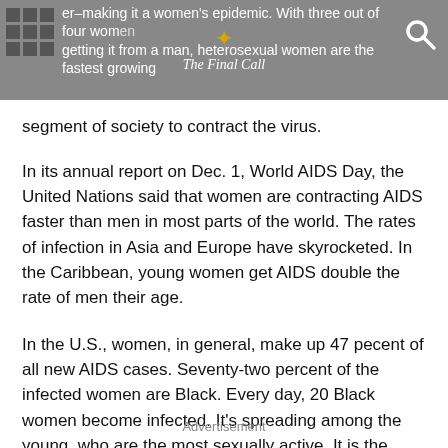er–making it a women's epidemic. With three out of four women getting it from a man, heterosexual women are the fastest growing segment of society to contract the virus.
segment of society to contract the virus.
In its annual report on Dec. 1, World AIDS Day, the United Nations said that women are contracting AIDS faster than men in most parts of the world. The rates of infection in Asia and Europe have skyrocketed. In the Caribbean, young women get AIDS double the rate of men their age.
In the U.S., women, in general, make up 47 pecent of all new AIDS cases. Seventy-two percent of the infected women are Black. Every day, 20 Black women become infected. It's spreading among the young, who are the most sexually active. It is the leading cause of death of Black women ages 24-35.
Advertisement